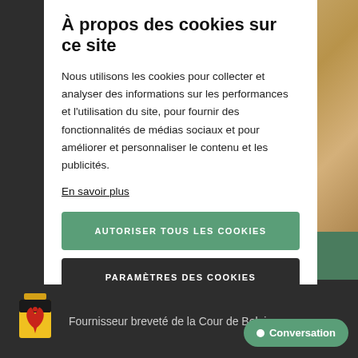À propos des cookies sur ce site
Nous utilisons les cookies pour collecter et analyser des informations sur les performances et l'utilisation du site, pour fournir des fonctionnalités de médias sociaux et pour améliorer et personnaliser le contenu et les publicités.
En savoir plus
AUTORISER TOUS LES COOKIES
PARAMÈTRES DES COOKIES
Fournisseur breveté de la Cour de Belgique
Conversation